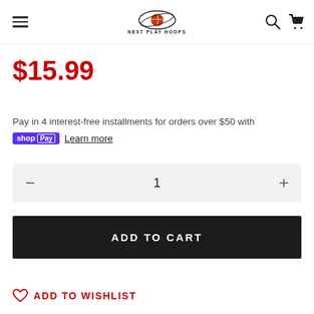Next Play Hoops
$15.99
Pay in 4 interest-free installments for orders over $50 with shop Pay Learn more
1
ADD TO CART
ADD TO WISHLIST